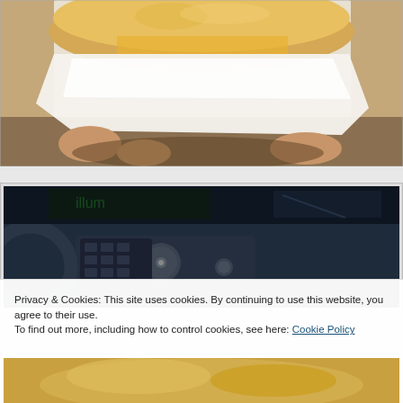[Figure (photo): A hand holding a bread roll or sandwich wrapped in white paper, photographed outdoors in sunlight with a shadow visible below.]
[Figure (photo): Interior of a car showing the center console with knobs and controls, dark dashboard visible.]
Privacy & Cookies: This site uses cookies. By continuing to use this website, you agree to their use.
To find out more, including how to control cookies, see here: Cookie Policy
[Figure (photo): Partial view of another food photo visible at the bottom, showing golden/yellow colored food item.]